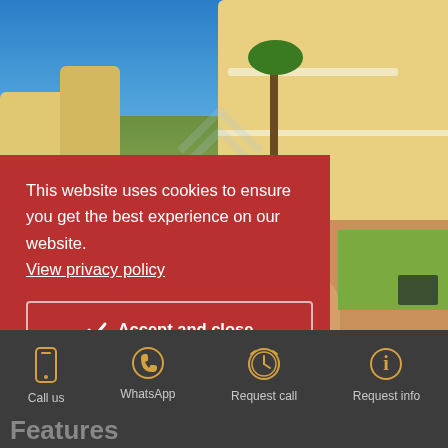[Figure (photo): Aerial/ground-level view of a Spanish villa with pool, garden, and palm trees under blue sky. Watermark with 'IF ... STOX REAL PROPERTIES' overlaid on center.]
This website uses cookies to ensure you get the best experience on our website.
View privacy policy
Accept and close
Call us
WhatsApp
Request call
Request info
Features